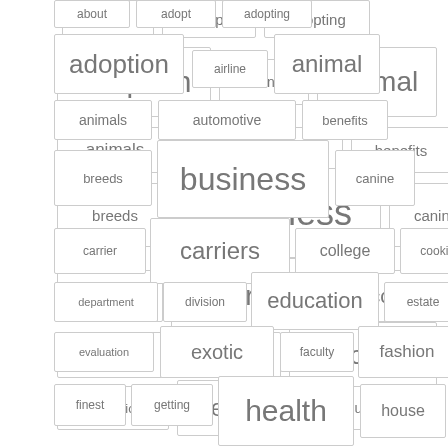[Figure (other): A word/tag cloud displayed as individual bordered rectangular tags of varying font sizes, arranged in a grid-like layout. Words include: about, adopt, adopting, adoption, airline, animal, animals, automotive, benefits, breeds, business, canine, carrier, carriers, college, cooking, department, division, education, estate, evaluation, exotic, faculty, fashion, finest, getting, health, house]